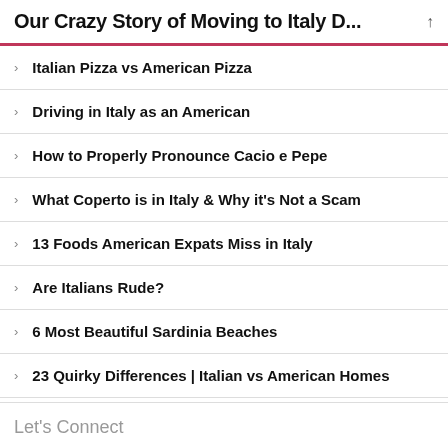Our Crazy Story of Moving to Italy D...
Italian Pizza vs American Pizza
Driving in Italy as an American
How to Properly Pronounce Cacio e Pepe
What Coperto is in Italy & Why it's Not a Scam
13 Foods American Expats Miss in Italy
Are Italians Rude?
6 Most Beautiful Sardinia Beaches
23 Quirky Differences | Italian vs American Homes
Let's Connect